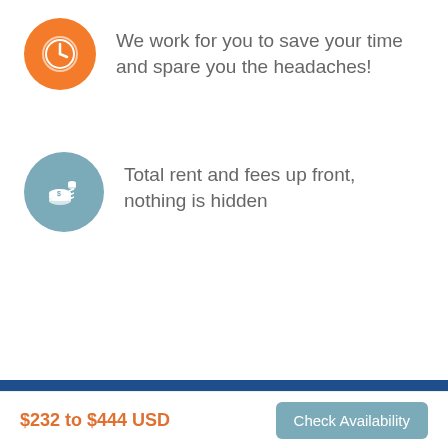[Figure (infographic): Orange circle icon with a clock symbol]
We work for you to save your time and spare you the headaches!
[Figure (infographic): Blue-grey circle icon with a dollar coin stack symbol]
Total rent and fees up front, nothing is hidden
[Figure (logo): OwnerDirect Vacation Rentals logo on dark blue background]
Experience the difference, no waiting
Toll Free USA, Canada
1-888-060-6277
$232 to $444 USD
Check Availability